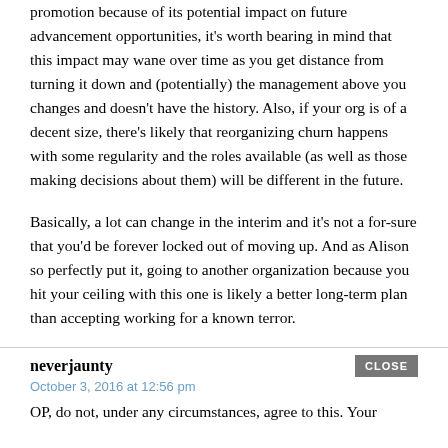promotion because of its potential impact on future advancement opportunities, it’s worth bearing in mind that this impact may wane over time as you get distance from turning it down and (potentially) the management above you changes and doesn’t have the history. Also, if your org is of a decent size, there’s likely that reorganizing churn happens with some regularity and the roles available (as well as those making decisions about them) will be different in the future.
Basically, a lot can change in the interim and it’s not a for-sure that you’d be forever locked out of moving up. And as Alison so perfectly put it, going to another organization because you hit your ceiling with this one is likely a better long-term plan than accepting working for a known terror.
neverjaunty
October 3, 2016 at 12:56 pm
OP, do not, under any circumstances, agree to this. Your